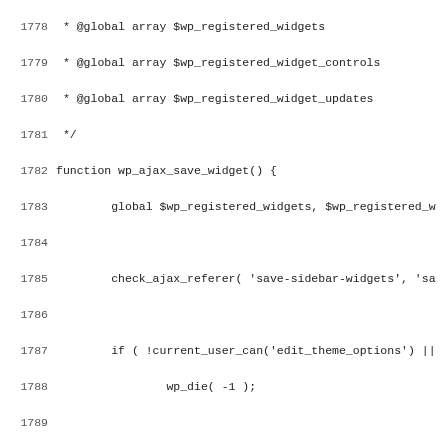Code listing lines 1778-1810, PHP source code for wp_ajax_save_widget function